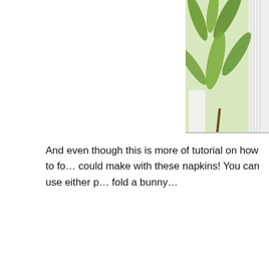[Figure (photo): Close-up photo of green leaves and white vase/background, cropped at top-right of page]
And even though this is more of tutorial on how to fo… could make with these napkins! You can use either p… fold a bunny…
[Figure (illustration): Bunny card 1 with purple bunny icon and teal dotted line]
You must check out the post on Driven By Dec… tablescape that I absolutely adore! Kris from Drive… highly recom…
[Figure (illustration): Bunny card 2 with purple bunny icon and teal dotted line]